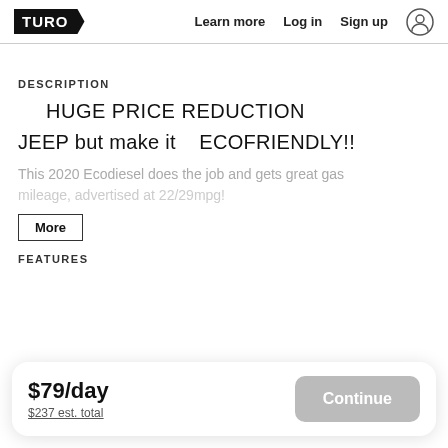TURO  Learn more  Log in  Sign up
DESCRIPTION
HUGE PRICE REDUCTION
JEEP but make it   ECOFRIENDLY!!
This 2020 Ecodiesel does the job and gets great gas mileage, advertised at 22/29mpg!
More
FEATURES
$79/day
$237 est. total
Continue